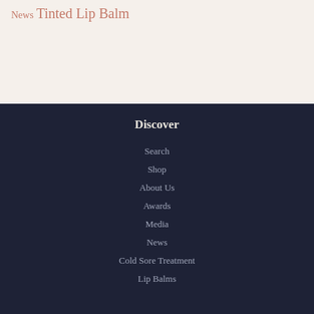News
Tinted Lip Balm
Discover
Search
Shop
About Us
Awards
Media
News
Cold Sore Treatment
Lip Balms